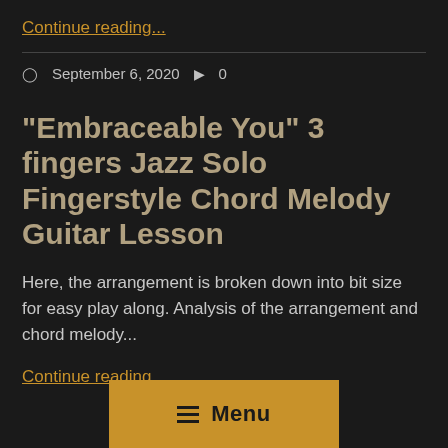Continue reading...
September 6, 2020  0
“Embraceable You” 3 fingers Jazz Solo Fingerstyle Chord Melody Guitar Lesson
Here, the arrangement is broken down into bit size for easy play along. Analysis of the arrangement and chord melody...
Continue reading...